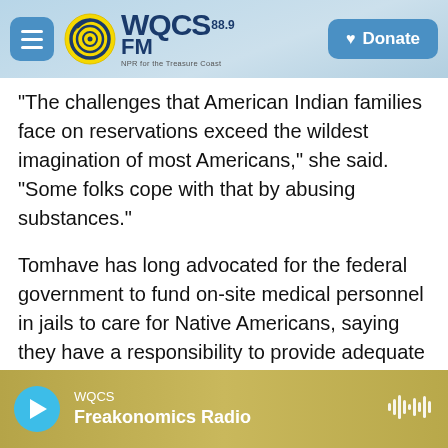WQCS 88.9 FM — Donate
The challenges that American Indian families face on reservations exceed the wildest imagination of most Americans," she said. "Some folks cope with that by abusing substances."
Tomhave has long advocated for the federal government to fund on-site medical personnel in jails to care for Native Americans, saying they have a responsibility to provide adequate health care for inmates. This duty stems from treaty obligations in which tribes gave up their land in exchange for promises of health, safety and security from the U.S. government.
WQCS — Freakonomics Radio